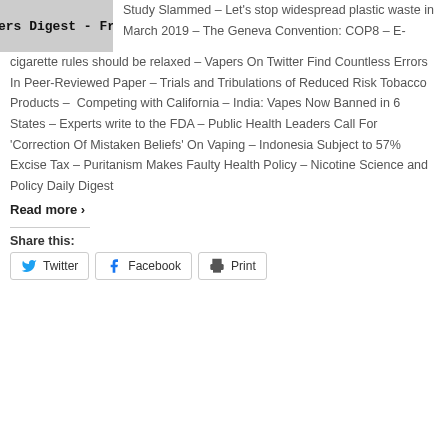[Figure (photo): Partially visible image with text overlay reading 'ers Digest - Fr' in typewriter-style font, depicting what appears to be a grey/white background]
Study Slammed – Let's stop widespread plastic waste in March 2019 – The Geneva Convention: COP8 – E-cigarette rules should be relaxed – Vapers On Twitter Find Countless Errors In Peer-Reviewed Paper – Trials and Tribulations of Reduced Risk Tobacco Products – Competing with California – India: Vapes Now Banned in 6 States – Experts write to the FDA – Public Health Leaders Call For 'Correction Of Mistaken Beliefs' On Vaping – Indonesia Subject to 57% Excise Tax – Puritanism Makes Faulty Health Policy – Nicotine Science and Policy Daily Digest
Read more ›
Share this:
Twitter
Facebook
Print